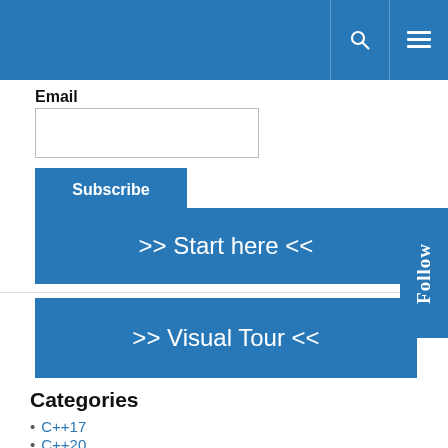Email
[Figure (screenshot): Email input text field and Subscribe button]
[Figure (infographic): >> Start here << blue button banner]
[Figure (infographic): >> Visual Tour << blue button banner]
Categories
C++17
C++20
C++23
C++ Core Guidelines